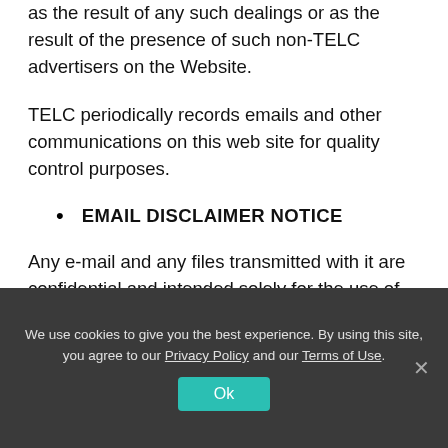as the result of any such dealings or as the result of the presence of such non-TELC advertisers on the Website.
TELC periodically records emails and other communications on this web site for quality control purposes.
EMAIL DISCLAIMER NOTICE
Any e-mail and any files transmitted with it are confidential and intended solely for the use of the individual or entity to whom they are addressed. If
We use cookies to give you the best experience. By using this site, you agree to our Privacy Policy and our Terms of Use.